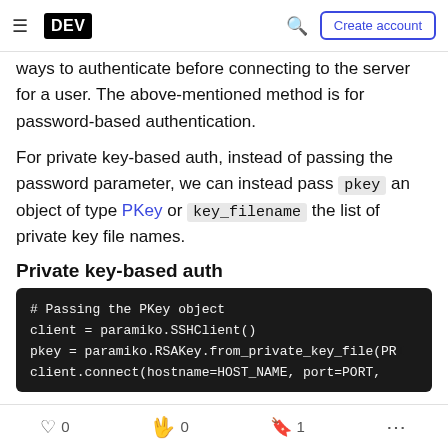DEV | Create account
ways to authenticate before connecting to the server for a user. The above-mentioned method is for password-based authentication.
For private key-based auth, instead of passing the password parameter, we can instead pass pkey an object of type PKey or key_filename the list of private key file names.
Private key-based auth
[Figure (screenshot): Code block showing: # Passing the PKey object / client = paramiko.SSHClient() / pkey = paramiko.RSAKey.from_private_key_file(PR... / client.connect(hostname=HOST_NAME, port=PORT...]
0 likes  0 reactions  1 bookmark  more options